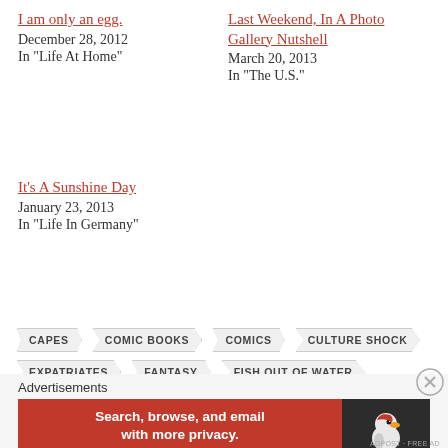I am only an egg.
December 28, 2012
In "Life At Home"
Last Weekend, In A Photo Gallery Nutshell
March 20, 2013
In "The U.S."
It's A Sunshine Day
January 23, 2013
In "Life In Germany"
CAPES
COMIC BOOKS
COMICS
CULTURE SHOCK
EXPATRIATES
FANTASY
FISH OUT OF WATER
GEEKSTUFF
HEROES
MOVIES
SCI-FI
SPACE TRAVEL
TELEVISION
THIRD CULTURE KIDS
TIME TRAVEL
Advertisements
[Figure (screenshot): DuckDuckGo advertisement banner: Search, browse, and email with more privacy. All in One Free App]